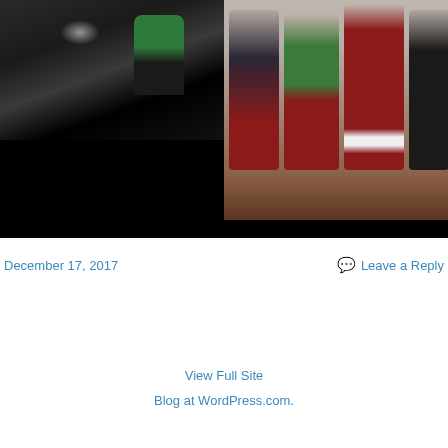[Figure (photo): Woman in green outfit and Santa hat sitting in a black sports car]
[Figure (photo): Three women and Santa Claus posing together indoors]
December 17, 2017
Leave a Reply
View Full Site
Blog at WordPress.com.